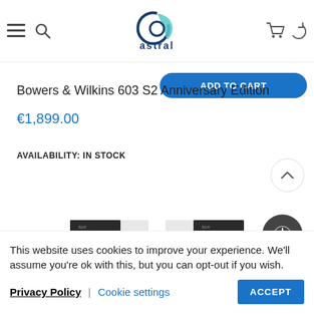astral
[Figure (screenshot): Partially visible blue 'ADD TO CART' button with rounded corners]
Bowers & Wilkins 603 S2 Anniversary Edition
€1,899.00
AVAILABILITY: IN STOCK
[Figure (photo): Two Bowers & Wilkins 603 S2 Anniversary Edition speakers side by side, white and black, partially visible]
This website uses cookies to improve your experience. We'll assume you're ok with this, but you can opt-out if you wish.  Privacy Policy | Cookie settings  ACCEPT